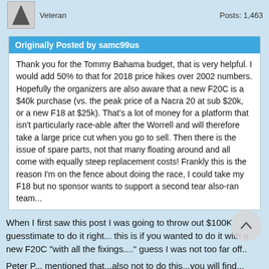Veteran   Posts: 1,463
Originally Posted by samc99us
Thank you for the Tommy Bahama budget, that is very helpful. I would add 50% to that for 2018 price hikes over 2002 numbers. Hopefully the organizers are also aware that a new F20C is a $40k purchase (vs. the peak price of a Nacra 20 at sub $20k, or a new F18 at $25k). That's a lot of money for a platform that isn't particularly race-able after the Worrell and will therefore take a large price cut when you go to sell. Then there is the issue of spare parts, not that many floating around and all come with equally steep replacement costs! Frankly this is the reason I'm on the fence about doing the race, I could take my F18 but no sponsor wants to support a second tear also-ran team...
When I first saw this post I was going to throw out $100K guesstimate to do it right... this is if you wanted to do it with a new F20C "with all the fixings...." guess I was not too far off..
Peter P... mentioned that...also not to do this...you will find...